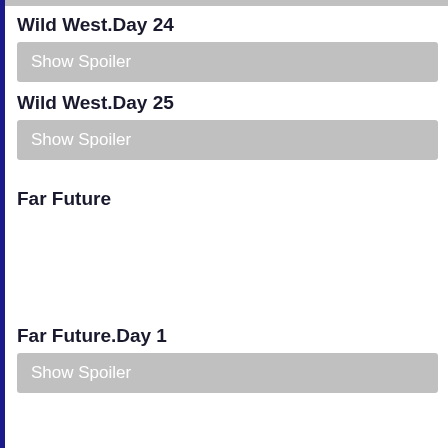Wild West.Day 24
Show Spoiler
Wild West.Day 25
Show Spoiler
Far Future
Far Future.Day 1
Show Spoiler